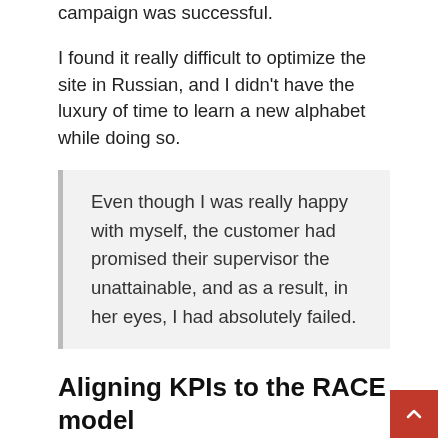campaign's launch, provided that the campaign was successful.
I found it really difficult to optimize the site in Russian, and I didn't have the luxury of time to learn a new alphabet while doing so.
Even though I was really happy with myself, the customer had promised their supervisor the unattainable, and as a result, in her eyes, I had absolutely failed.
Aligning KPIs to the RACE model
There is a good chance that you are already